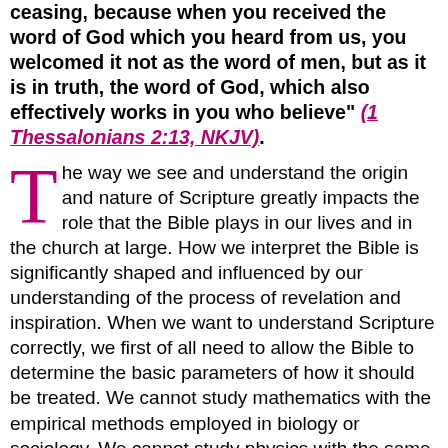ceasing, because when you received the word of God which you heard from us, you welcomed it not as the word of men, but as it is in truth, the word of God, which also effectively works in you who believe" (1 Thessalonians 2:13, NKJV).
The way we see and understand the origin and nature of Scripture greatly impacts the role that the Bible plays in our lives and in the church at large. How we interpret the Bible is significantly shaped and influenced by our understanding of the process of revelation and inspiration. When we want to understand Scripture correctly, we first of all need to allow the Bible to determine the basic parameters of how it should be treated. We cannot study mathematics with the empirical methods employed in biology or sociology. We cannot study physics with the same tools used to study history. In a similar manner, the spiritual truths of the Bible will not be known and understood correctly by atheistic methods that approach the Bible as if God did not exist. Instead, our interpretation of Scripture needs to take seriously the divine-human dimension of God's Word. Hence what is needed for a proper